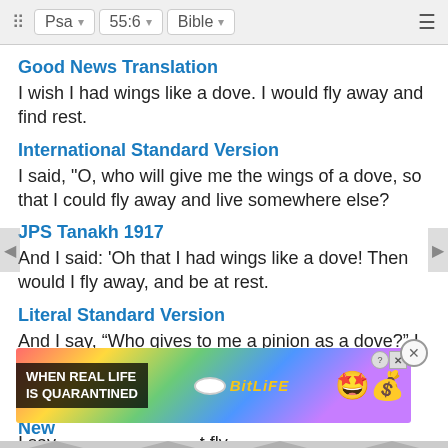Psa  55:6  Bible
Good News Translation
I wish I had wings like a dove. I would fly away and find rest.
International Standard Version
I said, "O, who will give me the wings of a dove, so that I could fly away and live somewhere else?
JPS Tanakh 1917
And I said: 'Oh that I had wings like a dove! Then would I fly away, and be at rest.
Literal Standard Version
And I say, “Who gives to me a pinion as a dove?” I fly away and rest,
New [American Bible]
I say, [...] t fly away